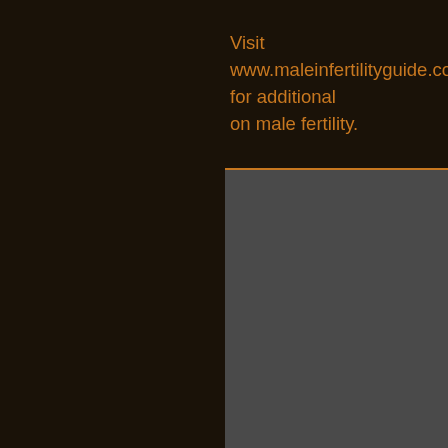Visit www.maleinfertilityguide.com for additional information on male fertility.
A Glossary of Terminology
Arimidex
Anastrozole. Non-steroidal aromatase inhibitor used for elevated estradiol. Testosterone is normally converted to estradiol by the aromatase enzyme, but Arimidex has minimal side effects.
Azospermia
When no sperm are present in the ejaculate.
Clomid
Clomiphene citrate. Selective Estrogen Receptor Modulator commonly used in the treatment of male infertility for raising testosterone levels. It is considered to be quite safe, with possible side effects which may include headaches, upset stomach, and visual changes.
Ejaculate
The fluid released during orgasm. Contains significant amounts of sperm. About 65-75% is from the seminal vesicles, 15% from the prostate.
Ejaculatory Duct
The short channel through which semen is ejected. Seminal vesicles also connect to ejaculatory duct.